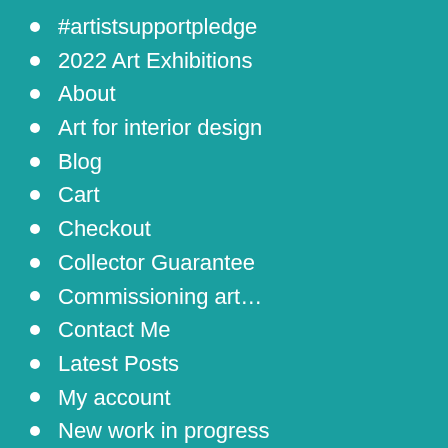#artistsupportpledge
2022 Art Exhibitions
About
Art for interior design
Blog
Cart
Checkout
Collector Guarantee
Commissioning art…
Contact Me
Latest Posts
My account
New work in progress
Perranporth Beach
Portfolio
Privacy Policy
Returns Policy
Reviews
Seascape paintings
Shipping Policy